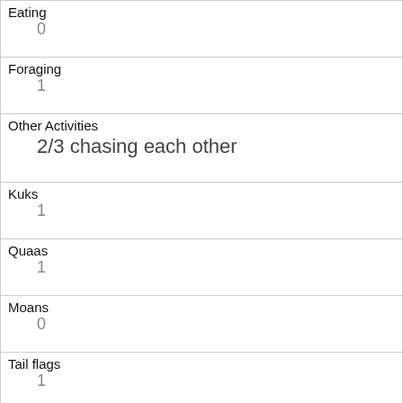| Eating | 0 |
| Foraging | 1 |
| Other Activities | 2/3 chasing each other |
| Kuks | 1 |
| Quaas | 1 |
| Moans | 0 |
| Tail flags | 1 |
| Tail twitches | 1 |
| Approaches | 0 |
| Indifferent | 1 |